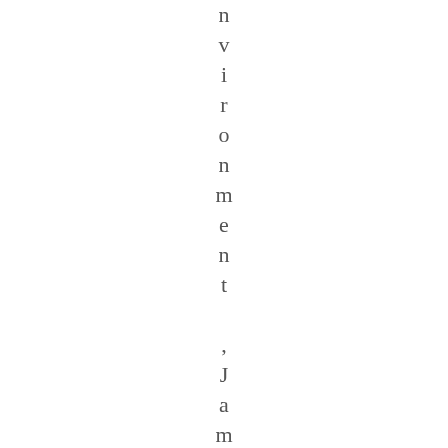nvironment, James Lee, Liber...